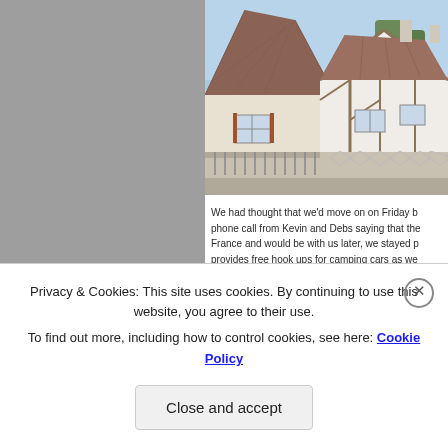[Figure (photo): Photograph of a traditional French half-timbered house with a steep tiled roof, white walls, and decorative ironwork fencing in front. Blue sky visible in background.]
We had thought that we'd move on on Friday b... phone call from Kevin and Debs saying that the... France and would be with us later, we stayed p... provides free hook ups for camping cars as we...
I should probably mention, at this point, that we...
Privacy & Cookies: This site uses cookies. By continuing to use this website, you agree to their use.
To find out more, including how to control cookies, see here: Cookie Policy
Close and accept